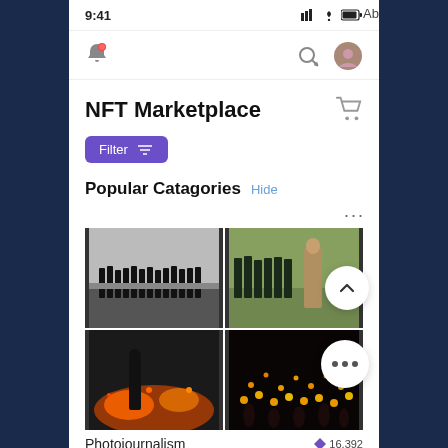[Figure (screenshot): Mobile app screenshot showing NFT Marketplace UI with status bar showing 9:41 time, notification bell, search and profile icons, NFT Marketplace title with cart icon, purple Filter button, Popular Categories section with Hide link, a 2x2 photojournalism photo grid, Photojournalism label with ETH 16,392 badge, back-to-top chevron button, more options button, and a green underwater photo at bottom with heart icon.]